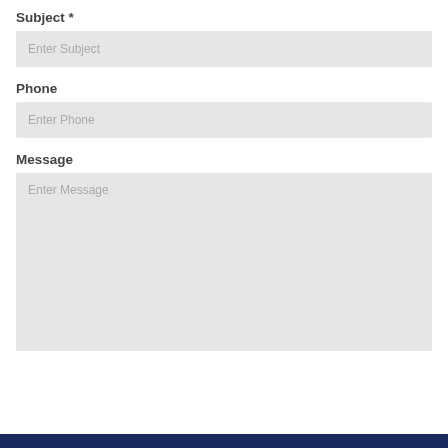Subject *
Enter Subject
Phone
Enter Phone
Message
Enter Message